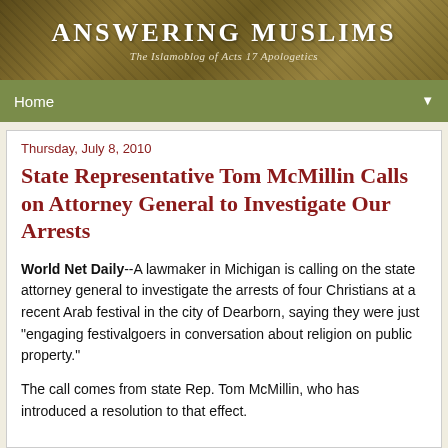Answering Muslims
The Islamoblog of Acts 17 Apologetics
Home
Thursday, July 8, 2010
State Representative Tom McMillin Calls on Attorney General to Investigate Our Arrests
World Net Daily--A lawmaker in Michigan is calling on the state attorney general to investigate the arrests of four Christians at a recent Arab festival in the city of Dearborn, saying they were just "engaging festivalgoers in conversation about religion on public property."
The call comes from state Rep. Tom McMillin, who has introduced a resolution to that effect.